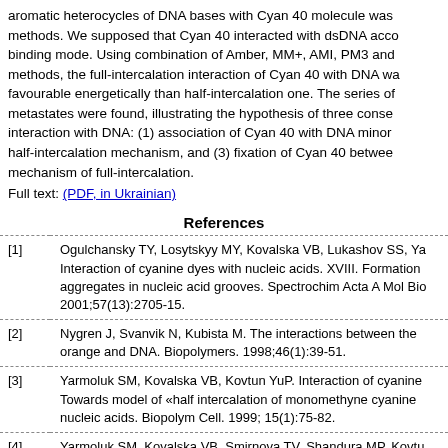aromatic heterocycles of DNA bases with Cyan 40 molecule was methods. We supposed that Cyan 40 interacted with dsDNA acco binding mode. Using combination of Amber, MM+, AMI, PM3 and methods, the full-intercalation interaction of Cyan 40 with DNA wa favourable energetically than half-intercalation one. The series of metastates were found, illustrating the hypothesis of three conse interaction with DNA: (1) association of Cyan 40 with DNA minor half-intercalation mechanism, and (3) fixation of Cyan 40 betwee mechanism of full-intercalation.
Full text: (PDF, in Ukrainian)
References
[1] Ogulchansky TY, Losytskyy MY, Kovalska VB, Lukashov SS, Ya Interaction of cyanine dyes with nucleic acids. XVIII. Formation aggregates in nucleic acid grooves. Spectrochim Acta A Mol Bio 2001;57(13):2705-15.
[2] Nygren J, Svanvik N, Kubista M. The interactions between the orange and DNA. Biopolymers. 1998;46(1):39-51.
[3] Yarmoluk SM, Kovalska VB, Kovtun YuP. Interaction of cyanine Towards model of «half intercalation of monomethyne cyanine nucleic acids. Biopolym Cell. 1999; 15(1):75-82.
[4] Yarmoluk SM, Kovalska VB, Smirnova TV, Shandura MP, Kovtu